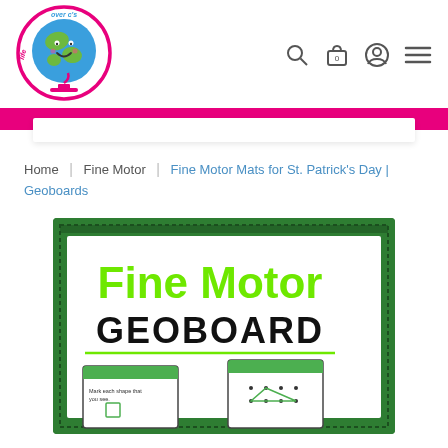[Figure (logo): Life Over C's logo — circular pink border with a smiling globe character on a pink stand, text 'life over c's' around the circle]
[Figure (infographic): Navigation icons: search (magnifying glass), shopping bag with '0', user/account circle, and hamburger menu]
Home | Fine Motor | Fine Motor Mats for St. Patrick's Day | Geoboards
[Figure (illustration): Product cover image showing a green bordered card titled 'Fine Motor GEOBOARD' in bright green and black text, with two smaller geoboard activity cards visible at the bottom]